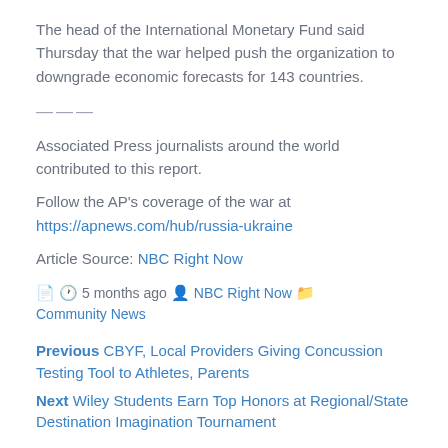The head of the International Monetary Fund said Thursday that the war helped push the organization to downgrade economic forecasts for 143 countries.
———
Associated Press journalists around the world contributed to this report.
Follow the AP's coverage of the war at https://apnews.com/hub/russia-ukraine
Article Source: NBC Right Now
5 months ago  NBC Right Now  Community News
Previous CBYF, Local Providers Giving Concussion Testing Tool to Athletes, Parents
Next Wiley Students Earn Top Honors at Regional/State Destination Imagination Tournament
City Sponsors